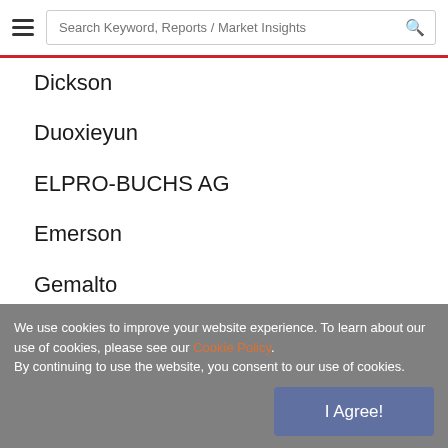Search Keyword, Reports / Market Insights
Dickson
Duoxieyun
ELPRO-BUCHS AG
Emerson
Gemalto
Haier Biomedical
Infratab, Inc.
Jucsan
LogTag Recorders Ltd
We use cookies to improve your website experience. To learn about our use of cookies, please see our Cookie Policy. By continuing to use the website, you consent to our use of cookies.